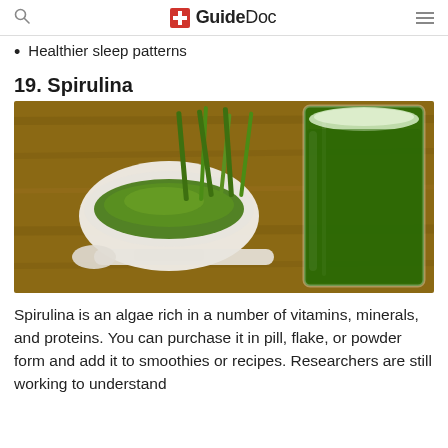GuideDoc
Healthier sleep patterns
19. Spirulina
[Figure (photo): A glass of dark green spirulina juice next to a white bowl filled with green spirulina powder, with wheatgrass in the background on a wooden surface.]
Spirulina is an algae rich in a number of vitamins, minerals, and proteins. You can purchase it in pill, flake, or powder form and add it to smoothies or recipes. Researchers are still working to understand